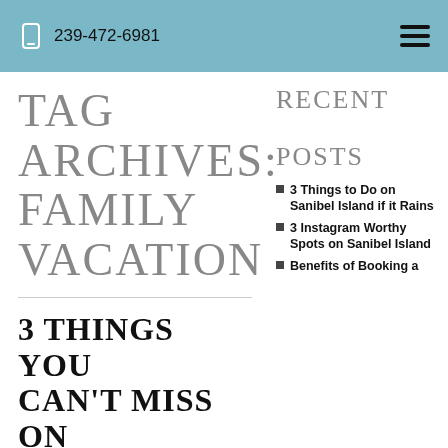239-472-6981
TAG ARCHIVES: FAMILY VACATION
RECENT POSTS
3 Things to Do on Sanibel Island if it Rains
3 Instagram Worthy Spots on Sanibel Island
Benefits of Booking a
3 THINGS YOU CAN'T MISS ON YOUR NEXT